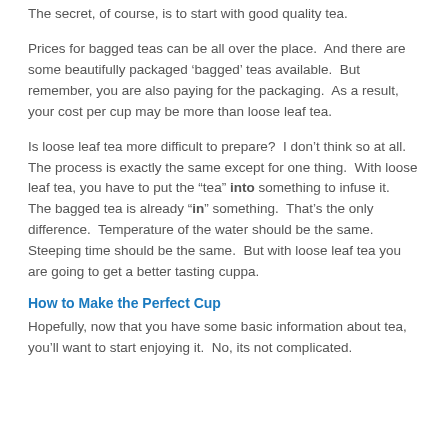The secret, of course, is to start with good quality tea.
Prices for bagged teas can be all over the place.  And there are some beautifully packaged ‘bagged’ teas available.  But remember, you are also paying for the packaging.  As a result, your cost per cup may be more than loose leaf tea.
Is loose leaf tea more difficult to prepare?  I don’t think so at all.  The process is exactly the same except for one thing.  With loose leaf tea, you have to put the “tea” into something to infuse it.  The bagged tea is already “in” something.  That’s the only difference.  Temperature of the water should be the same.  Steeping time should be the same.  But with loose leaf tea you are going to get a better tasting cuppa.
How to Make the Perfect Cup
Hopefully, now that you have some basic information about tea, you’ll want to start enjoying it.  No, its not complicated.